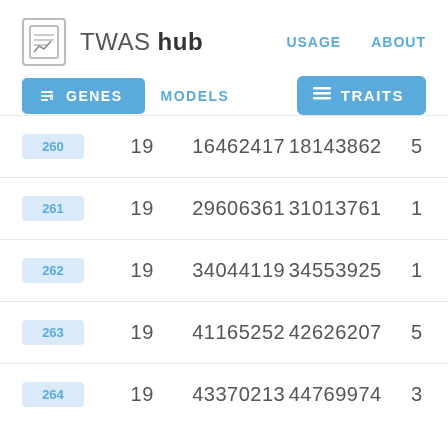[Figure (screenshot): TWAS hub website header with logo, navigation links (USAGE, ABOUT), tab buttons (GENES active, MODELS), and TRAITS button]
| # | Chr | Start | End | Count |
| --- | --- | --- | --- | --- |
| 260 | 19 | 16462417 | 18143862 | 5 |
| 261 | 19 | 29606361 | 31013761 | 1 |
| 262 | 19 | 34044119 | 34553925 | 1 |
| 263 | 19 | 41165252 | 42626207 | 5 |
| 264 | 19 | 43370213 | 44769974 | 3 |